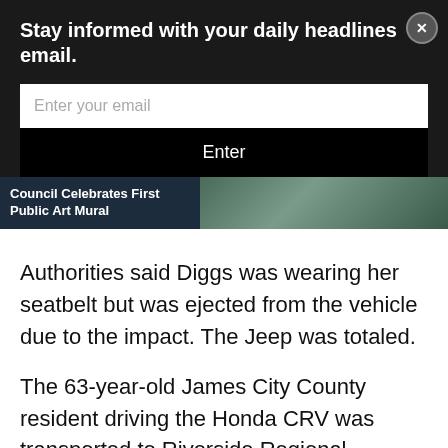Stay informed with your daily headlines email.
[Figure (screenshot): Email subscription form with text input field placeholder 'Enter your email' and a black 'Enter' button, on dark background with a close (X) button]
[Figure (screenshot): News banner showing 'Council Celebrates First Public Art Mural' with a thumbnail image of a mural on dark background]
Authorities said Diggs was wearing her seatbelt but was ejected from the vehicle due to the impact. The Jeep was totaled.
The 63-year-old James City County resident driving the Honda CRV was transported to Riverside Regional Medical Center in Newport News with minor injuries, police said, adding the